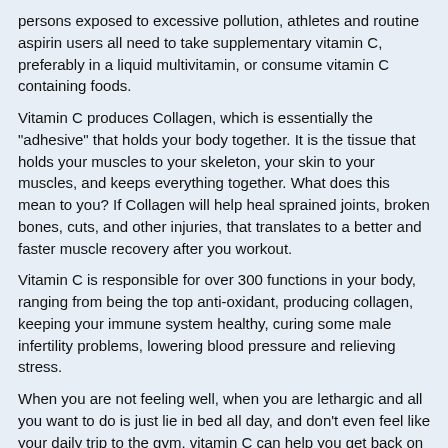persons exposed to excessive pollution, athletes and routine aspirin users all need to take supplementary vitamin C, preferably in a liquid multivitamin, or consume vitamin C containing foods.
Vitamin C produces Collagen, which is essentially the "adhesive" that holds your body together. It is the tissue that holds your muscles to your skeleton, your skin to your muscles, and keeps everything together. What does this mean to you? If Collagen will help heal sprained joints, broken bones, cuts, and other injuries, that translates to a better and faster muscle recovery after you workout.
Vitamin C is responsible for over 300 functions in your body, ranging from being the top anti-oxidant, producing collagen, keeping your immune system healthy, curing some male infertility problems, lowering blood pressure and relieving stress.
When you are not feeling well, when you are lethargic and all you want to do is just lie in bed all day, and don't even feel like your daily trip to the gym, vitamin C can help you get back on your feet because it boosts the immune system. Through this function, along with its antioxidant function, it may help in the prevention and treatment of infections and other diseases.
Click below on (Need help) if vitamin C has value for the...